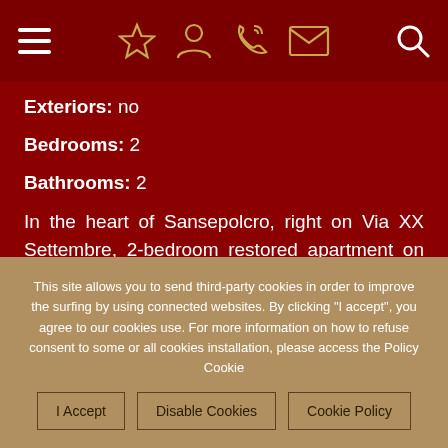Navigation bar with hamburger menu, icons (star, person, phone, mail), and search
Exteriors: no
Bedrooms: 2
Bathrooms: 2
In the heart of Sansepolcro, right on Via XX Settembre, 2-bedroom restored apartment on the third floor of a beautiful historical palazzo with elevator. The property (192 sqm) is just two steps...
This site allows you to send third-party cookies in order to improve the surfing by using connected websites. By clicking "I accept", you agree to our cookies use. For more information on how to refuse consent to some or all cookies installation, please access the Policy Cookie
I Accept | Disable Cookies | Cookie Policy